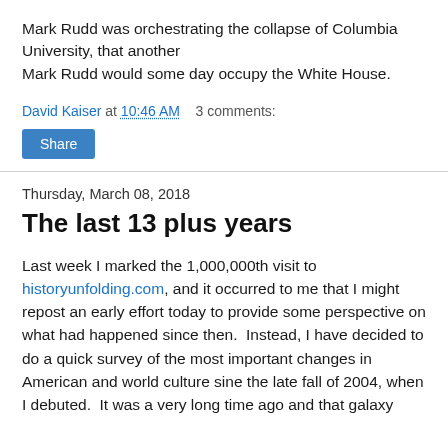Mark Rudd was orchestrating the collapse of Columbia University, that another Mark Rudd would some day occupy the White House.
David Kaiser at 10:46 AM   3 comments:
Share
Thursday, March 08, 2018
The last 13 plus years
Last week I marked the 1,000,000th visit to historyunfolding.com, and it occurred to me that I might repost an early effort today to provide some perspective on what had happened since then.  Instead, I have decided to do a quick survey of the most important changes in American and world culture sine the late fall of 2004, when I debuted.  It was a very long time ago and that galaxy